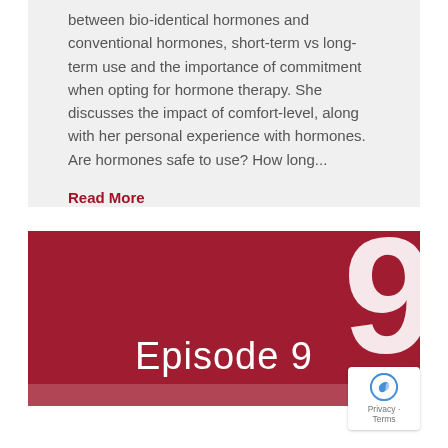between bio-identical hormones and conventional hormones, short-term vs long-term use and the importance of commitment when opting for hormone therapy. She discusses the impact of comfort-level, along with her personal experience with hormones. Are hormones safe to use? How long...
Read More
[Figure (other): Dark red/crimson episode card graphic showing large white number '9' in the background and 'Episode 9' text in the foreground, with a lighter bar at the bottom edge.]